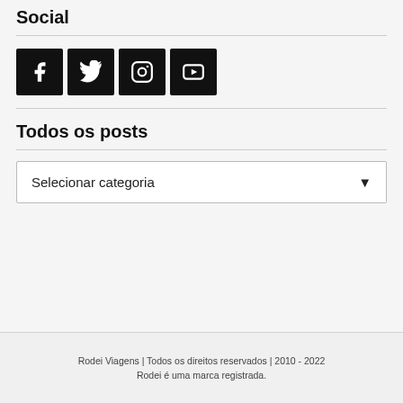Social
[Figure (infographic): Four social media icons (Facebook, Twitter, Instagram, YouTube) displayed as white icons on black square backgrounds arranged in a row.]
Todos os posts
Selecionar categoria
Rodei Viagens | Todos os direitos reservados | 2010 - 2022
Rodei é uma marca registrada.